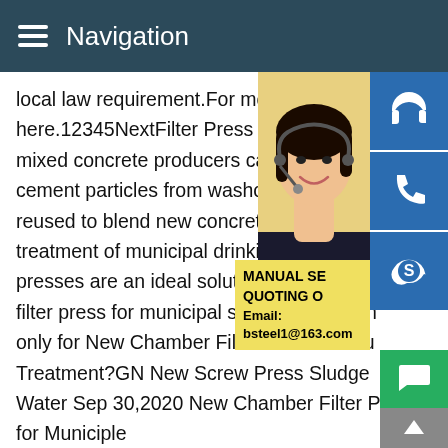Navigation
local law requirement.For more information here.12345NextFilter Press Manufacturers mixed concrete producers can benefit .as cement particles from washout water and reused to blend new concrete.If solids are treatment of municipal drinking water or w presses are an ideal solution.Including res filter press for municipal sewage treatmen only for New Chamber Filter Press for Mu Treatment?GN New Screw Press Sludge Water Sep 30,2020 New Chamber Filter Press for Municiple Sewage Treatment#0183;The screw press also has its advantages and characteristics,making it widely used in municipal sewage treatment projects and water treatment systems in food,oil,pharmaceutical,chemical,paper
[Figure (photo): Customer service representative woman wearing headset, smiling, with blue icon buttons for headset, phone, and Skype on the right side]
MANUAL SE QUOTING O Email: bsteel1@163.com